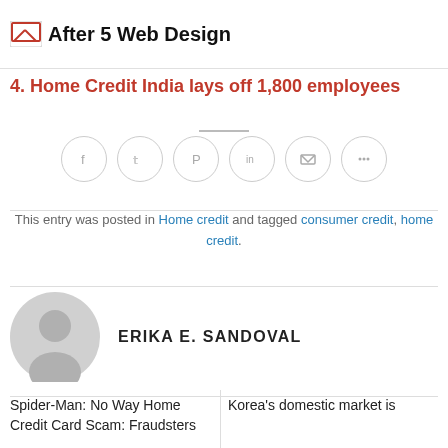After 5 Web Design
4. Home Credit India lays off 1,800 employees
[Figure (other): Row of six social sharing icon circles (Facebook, Twitter, etc.) in light grey outline circle buttons]
This entry was posted in Home credit and tagged consumer credit, home credit.
ERIKA E. SANDOVAL
Spider-Man: No Way Home Credit Card Scam: Fraudsters
Korea's domestic market is